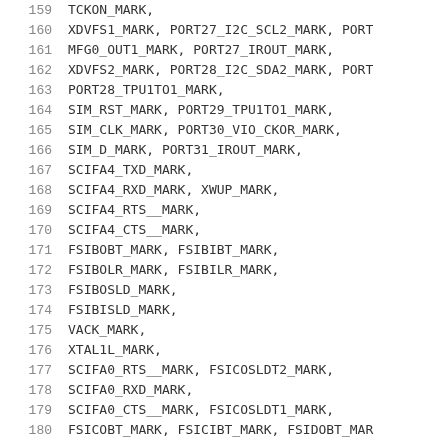159: TCKON_MARK,
160: XDVFS1_MARK, PORT27_I2C_SCL2_MARK, PORT...
161: MFG0_OUT1_MARK, PORT27_IROUT_MARK,
162: XDVFS2_MARK, PORT28_I2C_SDA2_MARK, PORT...
163: PORT28_TPU1TO1_MARK,
164: SIM_RST_MARK, PORT29_TPU1TO1_MARK,
165: SIM_CLK_MARK, PORT30_VIO_CKOR_MARK,
166: SIM_D_MARK, PORT31_IROUT_MARK,
167: SCIFA4_TXD_MARK,
168: SCIFA4_RXD_MARK, XWUP_MARK,
169: SCIFA4_RTS__MARK,
170: SCIFA4_CTS__MARK,
171: FSIBOBT_MARK, FSIBIBT_MARK,
172: FSIBOLR_MARK, FSIBILR_MARK,
173: FSIBOSLD_MARK,
174: FSIBISLD_MARK,
175: VACK_MARK,
176: XTAL1L_MARK,
177: SCIFA0_RTS__MARK, FSICOSLDT2_MARK,
178: SCIFA0_RXD_MARK,
179: SCIFA0_CTS__MARK, FSICOSLDT1_MARK,
180: FSICOBT_MARK, FSICIBT_MARK, FSIDOBT_MAR...